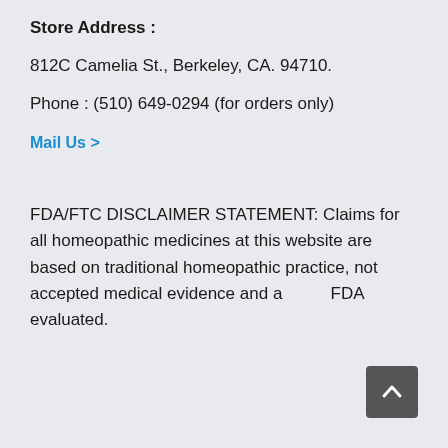Store Address :
812C Camelia St., Berkeley, CA. 94710.
Phone : (510) 649-0294 (for orders only)
Mail Us >
FDA/FTC DISCLAIMER STATEMENT: Claims for all homeopathic medicines at this website are based on traditional homeopathic practice, not accepted medical evidence and are not FDA evaluated.